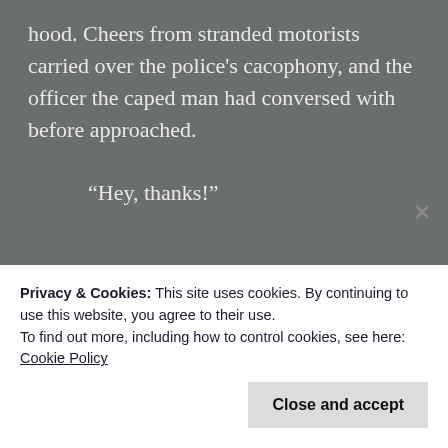hood. Cheers from stranded motorists carried over the police's cacophony, and the officer the caped man had conversed with before approached.

“Hey, thanks!”

“No problem, take care.” The caped man was already floating into the air, and with a snap of the sound barrier he flew off, back towards the heart of the city’s jagged skyline.
Privacy & Cookies: This site uses cookies. By continuing to use this website, you agree to their use.
To find out more, including how to control cookies, see here: Cookie Policy
Close and accept